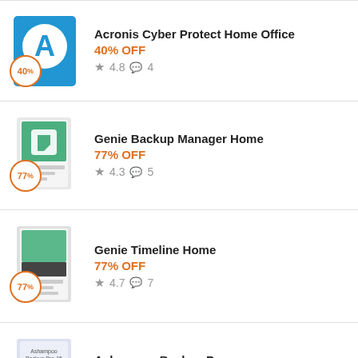Acronis Cyber Protect Home Office — 40% OFF — Rating: 4.8, Comments: 4
Genie Backup Manager Home — 77% OFF — Rating: 4.3, Comments: 5
Genie Timeline Home — 77% OFF — Rating: 4.7, Comments: 7
Ashampoo Backup Pro — 50% OFF — Rating: 3.5
O&O Diskimage (partial)